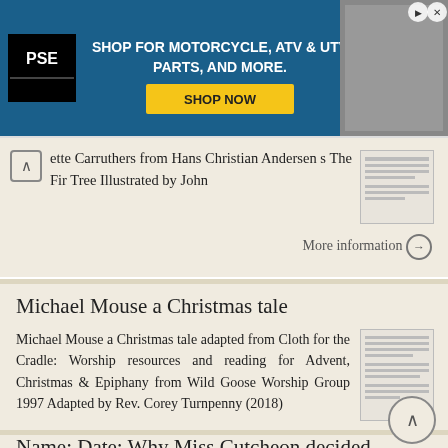[Figure (screenshot): Advertisement banner: PSE logo on left, text 'SHOP FOR MOTORCYCLE, ATV & UTV PARTS, AND MORE.' with yellow 'SHOP NOW' button, motorcycle image on right.]
ette Carruthers from Hans Christian Andersen s The Fir Tree Illustrated by John
More information →
Michael Mouse a Christmas tale
Michael Mouse a Christmas tale adapted from Cloth for the Cradle: Worship resources and reading for Advent, Christmas & Epiphany from Wild Goose Worship Group 1997 Adapted by Rev. Corey Turnpenny (2018)
More information →
Name: Date: Why Miss Cutcheon decided